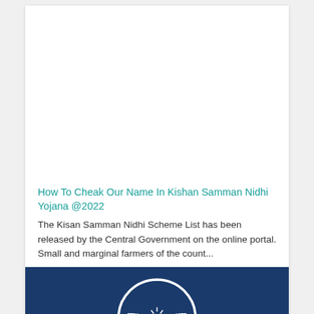How To Cheak Our Name In Kishan Samman Nidhi Yojana @2022
The Kisan Samman Nidhi Scheme List has been released by the Central Government on the online portal. Small and marginal farmers of the count...
[Figure (illustration): Dark blue background with white illustration of two cupped hands holding a diya (oil lamp) with a flame, surrounded by an arch/halo shape — emblem related to Kisan Samman Nidhi Yojana]